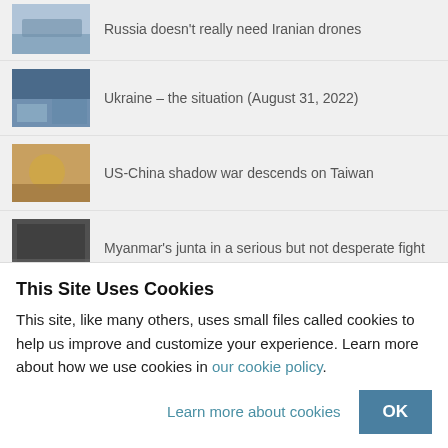Russia doesn't really need Iranian drones
Ukraine – the situation (August 31, 2022)
US-China shadow war descends on Taiwan
Myanmar's junta in a serious but not desperate fight
How Russia may escalate conflict beyond Ukraine
This Site Uses Cookies
This site, like many others, uses small files called cookies to help us improve and customize your experience. Learn more about how we use cookies in our cookie policy.
Learn more about cookies
OK